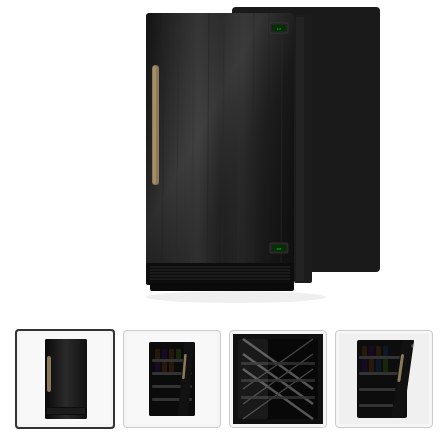[Figure (photo): Large main product image of a tall black wine cooler/refrigerator with brushed dark wood-grain finish, a vertical gold/bronze bar handle on the left side, small digital display panels on upper-right and lower-right, and ventilation grille at the bottom. The appliance is shown from a slightly angled front-right perspective against a white background.]
[Figure (photo): Thumbnail 1 (selected, with border): Front view of the same black wine cooler, showing closed door with wood-grain texture and handle.]
[Figure (photo): Thumbnail 2: The wine cooler with door open, revealing wine bottles stored on dark shelves inside.]
[Figure (photo): Thumbnail 3: Interior close-up showing black metal wire shelving with a diagonal/cross-bar design inside the wine cooler.]
[Figure (photo): Thumbnail 4: Another angle of the wine cooler with door open, showing wine bottles on shelves.]